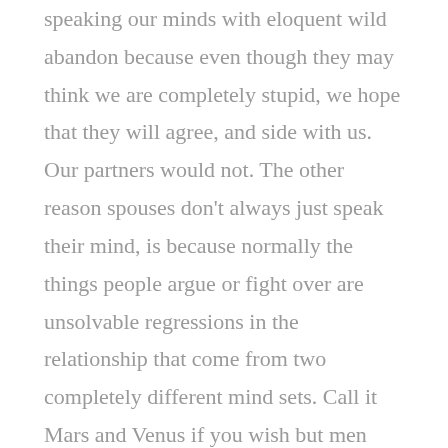speaking our minds with eloquent wild abandon because even though they may think we are completely stupid, we hope that they will agree, and side with us. Our partners would not. The other reason spouses don't always just speak their mind, is because normally the things people argue or fight over are unsolvable regressions in the relationship that come from two completely different mind sets. Call it Mars and Venus if you wish but men and women rarely see things as the same.

The other thing to consider is that while it is customary to take out our frustrations on the